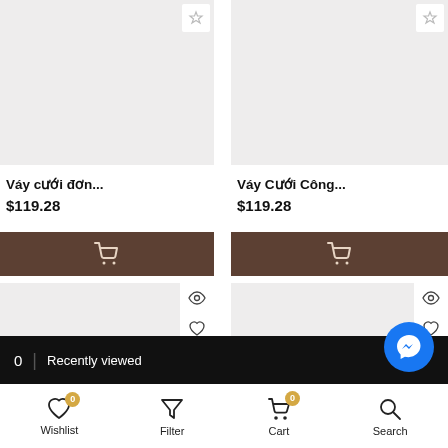[Figure (screenshot): E-commerce product listing page showing two product cards in Vietnamese with wedding dresses, prices, add-to-cart buttons, and a bottom navigation bar with Wishlist, Filter, Cart, Search icons plus a Messenger chat button and Recent Viewed bar.]
Váy cưới đơn...
$119.28
Váy Cưới Công...
$119.28
Wishlist   Filter   Cart   Search